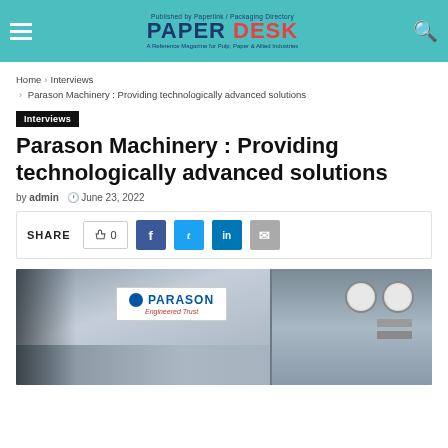PAPER DESK — Published by Paperlink / Packaging Directory — A Reference Magazine for Pulp, Paper & Allied Industries
Home › Interviews › Parason Machinery : Providing technologically advanced solutions
Interviews
Parason Machinery : Providing technologically advanced solutions
by admin  June 23, 2022
SHARE  0  f  t  in  ✉
[Figure (photo): Photo of a Parason branded industrial machine with PARASON logo on a white label ('Engineered Trust'), two circular pressure gauges visible, stainless steel body, with a person partially visible at bottom]